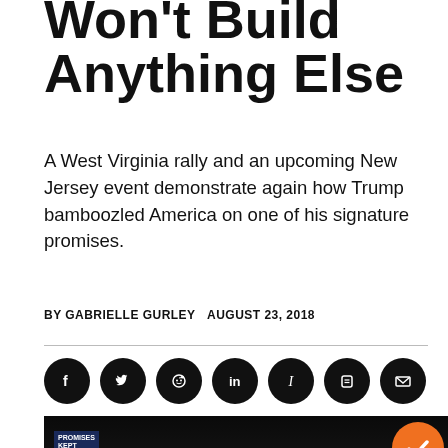Won't Build Anything Else
A West Virginia rally and an upcoming New Jersey event demonstrate again how Trump bamboozled America on one of his signature promises.
BY GABRIELLE GURLEY   AUGUST 23, 2018
[Figure (other): Social media sharing icons row: Facebook, Twitter, Reddit, LinkedIn, Instapaper, Blogger, Email — all white icons on black circular backgrounds]
[Figure (photo): Photo of a political rally crowd with a figure (Trump) seen from behind at center, crowd holding signs in background, dark arena setting. A 'Knowledge Tracker' widget with orange circle and checkmark overlays the top-right corner.]